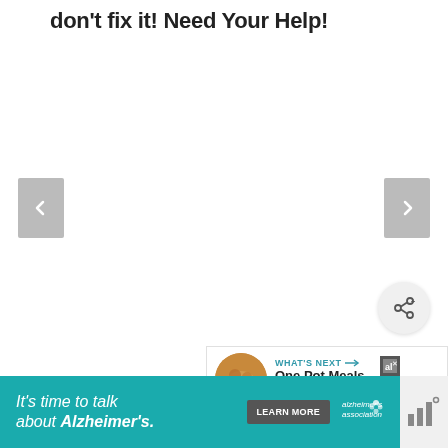don't fix it! Need Your Help!
[Figure (screenshot): Navigation arrows (left and right) for an image carousel with a large blank/white content area in the middle]
[Figure (infographic): Share button (circular icon with share symbol)]
[Figure (infographic): What's Next panel showing thumbnail image and text 'One Pot Meals and Easy...']
[Figure (infographic): Advertisement banner: It's time to talk about Alzheimer's. with LEARN MORE button, Alzheimer's association logo, and a close/ad badge]